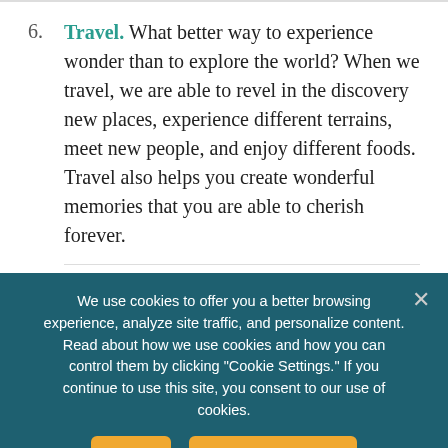6. Travel. What better way to experience wonder than to explore the world? When we travel, we are able to revel in the discovery new places, experience different terrains, meet new people, and enjoy different foods. Travel also helps you create wonderful memories that you are able to cherish forever.
7. Be kind. If you look closely enough, you can find wonder in kindness, generosity, and compassion.
We use cookies to offer you a better browsing experience, analyze site traffic, and personalize content. Read about how we use cookies and how you can control them by clicking "Cookie Settings." If you continue to use this site, you consent to our use of cookies.